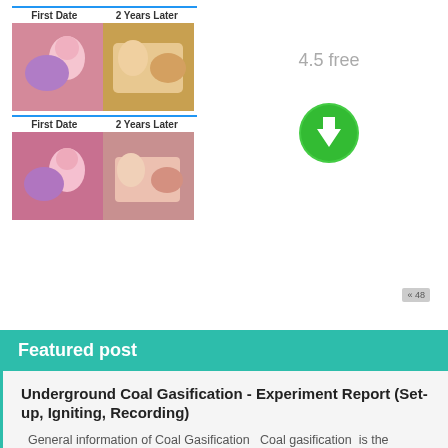[Figure (illustration): Comic-style animated images arranged in a grid showing 'First Date' and '2 Years Later' comparison panels, stacked twice.]
4.5 free
[Figure (other): Green circular download button with white downward arrow.]
« 48
Featured post
Underground Coal Gasification - Experiment Report (Set-up, Igniting, Recording)
General information of Coal Gasification  Coal gasification  is the process of producing  syngas —a mixture consisting primarily of  ...
[Figure (photo): Partial photo strip at the bottom of the page.]